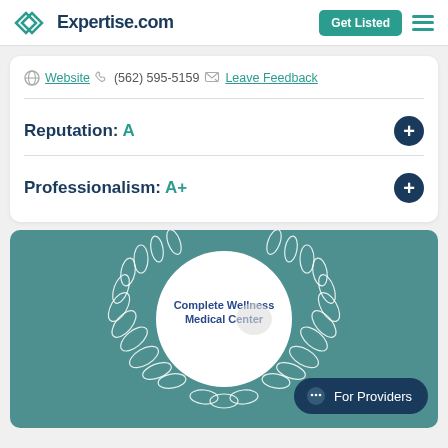Expertise.com | Get Listed
Website  (562) 595-5159  Leave Feedback
Reputation: A
Professionalism: A+
[Figure (logo): Complete Wellness Medical Center award badge with laurel wreath on teal background]